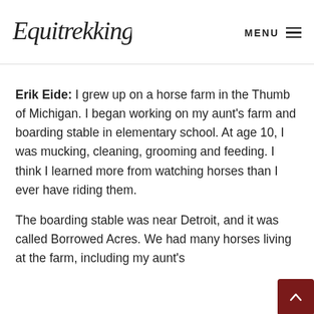Equitrekking   MENU
Erik Eide: I grew up on a horse farm in the Thumb of Michigan. I began working on my aunt's farm and boarding stable in elementary school. At age 10, I was mucking, cleaning, grooming and feeding. I think I learned more from watching horses than I ever have riding them.
The boarding stable was near Detroit, and it was called Borrowed Acres. We had many horses living at the farm, including my aunt's